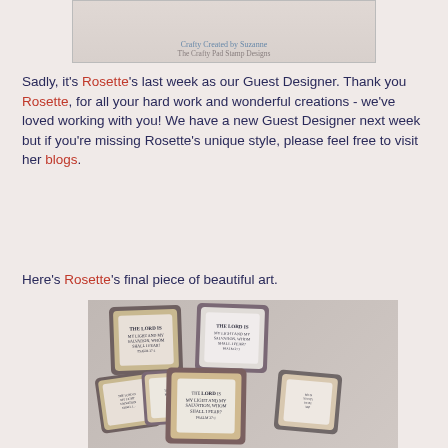[Figure (photo): Top portion of a crafty stamp design image showing 'The Crafty Pad Stamp Designs' watermark text]
Sadly, it's Rosette's last week as our Guest Designer. Thank you Rosette, for all your hard work and wonderful creations - we've loved working with you! We have a new Guest Designer next week but if you're missing Rosette's unique style, please feel free to visit her blogs.
Here's Rosette's final piece of beautiful art.
[Figure (photo): Handcrafted stamp art cards showing 'The LORD is my light and my salvation, whom shall I fear? Psalm 27:1' in decorative layered card format with multiple cards displayed]